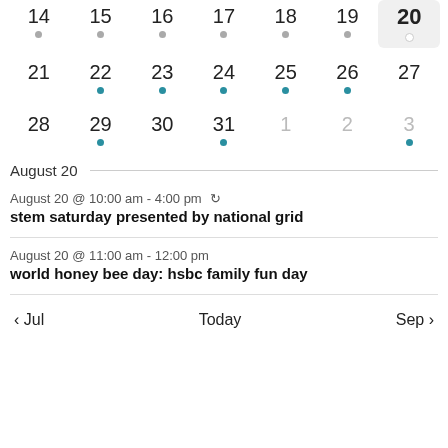[Figure (other): Partial calendar grid showing dates 14-20 (row 1), 21-27 (row 2), 28-31 and 1-3 (row 3). Date 20 is highlighted as today. Blue dots appear under 22,23,24,25,26 (row 2) and 29,31,3 (row 3). Gray dots appear under 14,15,16,17,18,19 (row 1).]
August 20
August 20 @ 10:00 am - 4:00 pm ↺
stem saturday presented by national grid
August 20 @ 11:00 am - 12:00 pm
world honey bee day: hsbc family fun day
< Jul   Today   Sep >